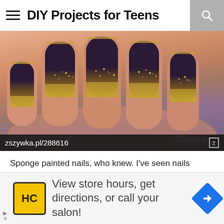DIY Projects for Teens
[Figure (photo): Close-up photo of a hand with nails painted in dark purple/black with gold glitter gradient ombre effect. Image credit watermark in Chinese characters. URL bar shows zszywka.pl/288616]
Sponge painted nails, who knew. I’ve seen nails painted like this on Instagram but had no idea that the neat ombre effect was done
sponge. For a simple gradient, you just apply a little nail
View store hours, get directions, or call your salon!